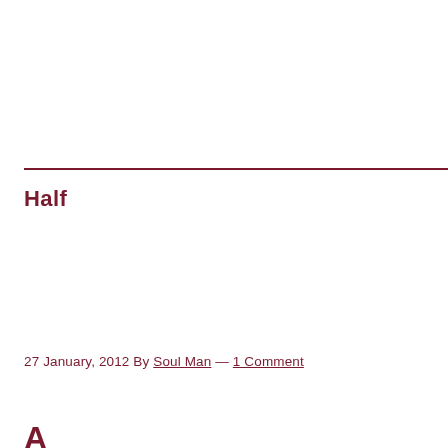Half
27 January, 2012 By Soul Man — 1 Comment